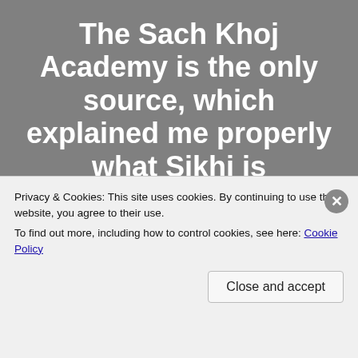The Sach Khoj Academy is the only source, which explained me properly what Sikhi is
The Sach Khoj Academy
Privacy & Cookies: This site uses cookies. By continuing to use this website, you agree to their use.
To find out more, including how to control cookies, see here: Cookie Policy